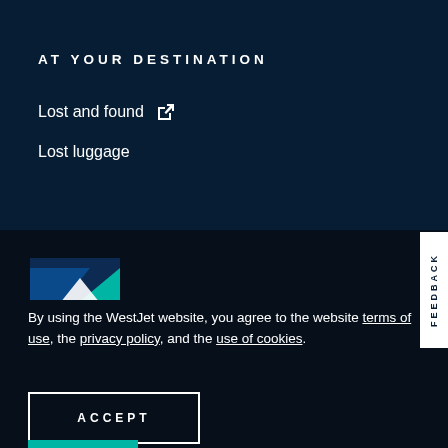AT YOUR DESTINATION
Lost and found
Lost luggage
[Figure (logo): WestJet logo — teal and dark blue geometric maple leaf / mountain shape with white silhouette]
Get travel ready
By using the WestJet website, you agree to the website terms of use, the privacy policy, and the use of cookies.
ACCEPT
FEEDBACK